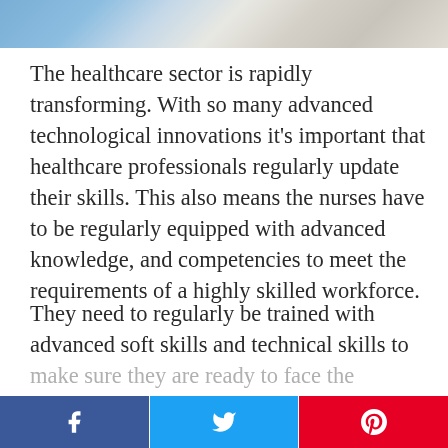[Figure (photo): Partial view of a healthcare professional, cropped at top of page]
The healthcare sector is rapidly transforming. With so many advanced technological innovations it’s important that healthcare professionals regularly update their skills. This also means the nurses have to be regularly equipped with advanced knowledge, and competencies to meet the requirements of a highly skilled workforce.
They need to regularly be trained with advanced soft skills and technical skills to make sure they are ready to face the challenges of the future.
[Figure (other): Social media sharing bar with Facebook, Twitter, and Pinterest buttons]